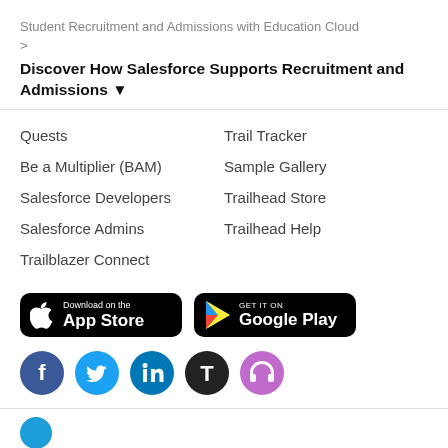Student Recruitment and Admissions with Education Cloud
>
Discover How Salesforce Supports Recruitment and Admissions ▼
Quests
Trail Tracker
Be a Multiplier (BAM)
Sample Gallery
Salesforce Developers
Trailhead Store
Salesforce Admins
Trailhead Help
Trailblazer Connect
[Figure (other): Download on the App Store button]
[Figure (other): Get it on Google Play button]
[Figure (other): Social media icons: Facebook, Twitter, LinkedIn, Trailhead, and headphone/podcast icon]